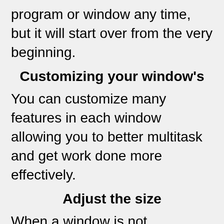program or window any time, but it will start over from the very beginning.
Customizing your window’s
You can customize many features in each window allowing you to better multitask and get work done more effectively.
Adjust the size
When a window is not maximized or is restored down it does not fit the entire